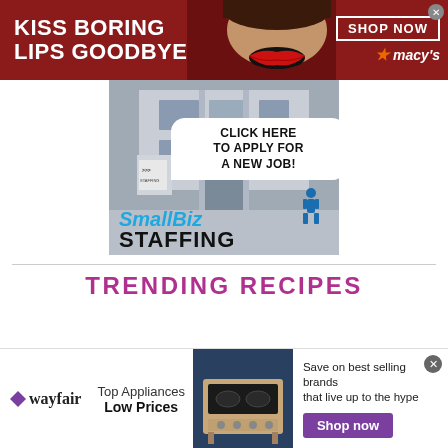[Figure (advertisement): Macy's banner ad with dark red background, woman's lips, text 'KISS BORING LIPS GOODBYE', 'SHOP NOW' button, and Macy's star logo]
[Figure (advertisement): SmallBiz Staffing job ad with office building background, speech bubble saying 'CLICK HERE TO APPLY FOR A NEW JOB!' and SmallBiz Staffing logo]
TRENDING RECIPES
[Figure (advertisement): Wayfair ad banner with logo, 'Top Appliances Low Prices', stove image, text 'Save on best selling brands that live up to the hype', and purple 'Shop now' button]